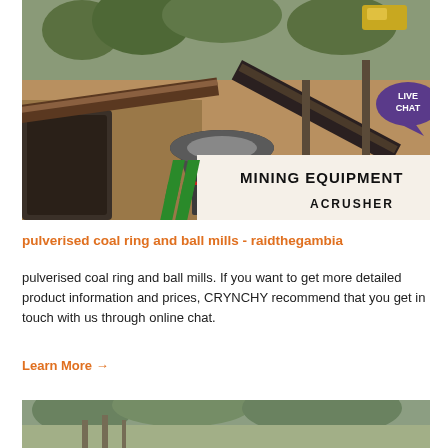[Figure (photo): Aerial view of mining/crushing equipment facility with cone crusher in center, conveyor belts, and MINING EQUIPMENT ACRUSHER logo overlay in bottom right. Live Chat bubble in top right corner.]
pulverised coal ring and ball mills - raidthegambia
pulverised coal ring and ball mills. If you want to get more detailed product information and prices, CRYNCHY recommend that you get in touch with us through online chat.
Learn More →
[Figure (photo): Partial view of another mining or industrial facility with green hills in background.]